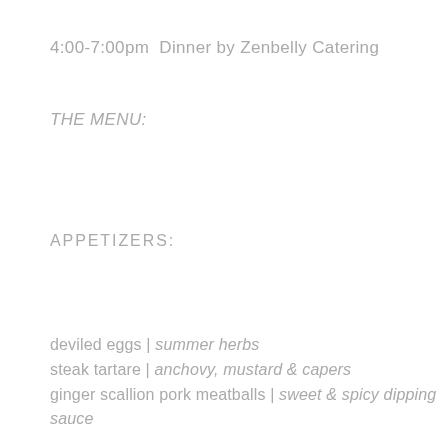4:00-7:00pm  Dinner by Zenbelly Catering
THE MENU:
APPETIZERS:
deviled eggs | summer herbs
steak tartare | anchovy, mustard & capers
ginger scallion pork meatballs | sweet & spicy dipping sauce